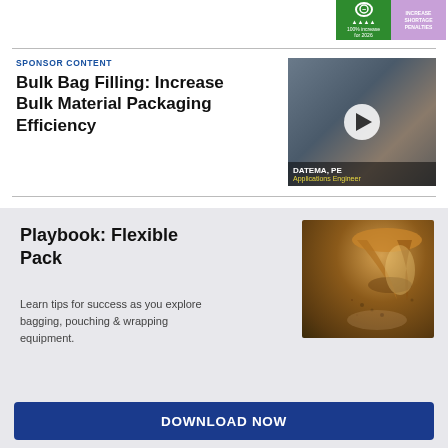[Figure (other): Top right banner with green section showing circular icon and small text, and purple section with text]
SPONSOR CONTENT
Bulk Bag Filling: Increase Bulk Material Packaging Efficiency
[Figure (photo): Photo of a person (Applications Engineer) in an industrial/warehouse setting with a play button overlay. Name label: DATEMA, PE, Applications Engineer]
Playbook: Flexible Pack
Learn tips for success as you explore bagging, pouching & wrapping equipment.
[Figure (photo): Close-up photo of grain or material being poured/filling into packaging, with warm lighting and steam/dust visible]
DOWNLOAD NOW